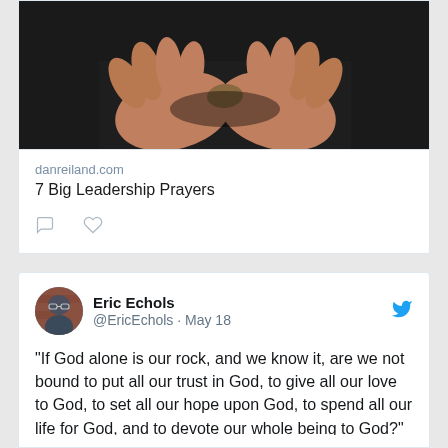[Figure (photo): Hands cupped together holding a small book or object, dark background, moody lighting]
danreiland.com
7 Big Leadership Prayers
Eric Echols @EricEchols · May 18
“If God alone is our rock, and we know it, are we not bound to put all our trust in God, to give all our love to God, to set all our hope upon God, to spend all our life for God, and to devote our whole being to God?” ~ Spurgeon